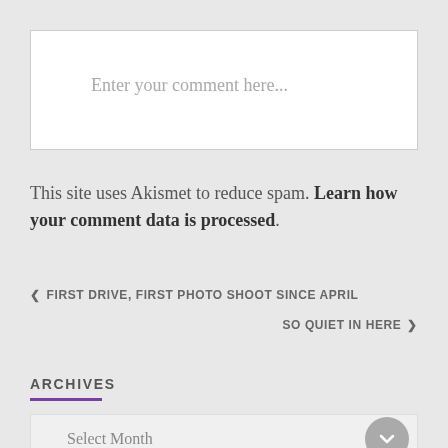Enter your comment here...
This site uses Akismet to reduce spam. Learn how your comment data is processed.
< FIRST DRIVE, FIRST PHOTO SHOOT SINCE APRIL
SO QUIET IN HERE >
ARCHIVES
Select Month